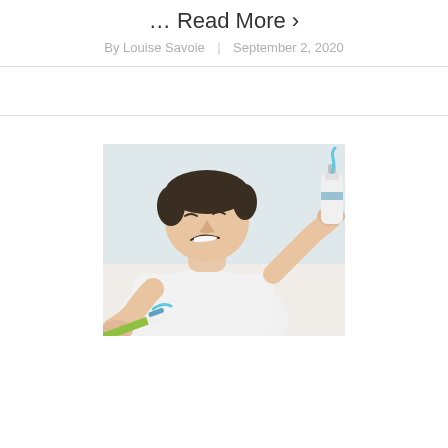… Read More ›
By Louise Savoie | September 2, 2020
[Figure (photo): A young man in a white shirt grimacing as he squeezes toothpaste from a tube onto a toothbrush, photographed in a bright bathroom setting.]